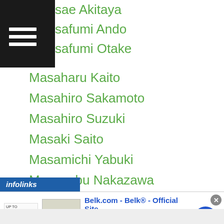sae Akitaya
safumi Ando
safumi Otake
Masaharu Kaito
Masahiro Sakamoto
Masahiro Suzuki
Masaki Saito
Masamichi Yabuki
Masanobu Nakazawa
Masanori Rikiishi
Masao Nakamura
Masao Oba
Masaru Kawashima
Masaru Sueyoshi
Masashi Noguchi
Masashi Tada
[Figure (screenshot): Infolinks advertisement banner for Belk.com showing store logo, bedding image, and text: Belk.com - Belk® - Official Site. Shop for clothing, handbags, jewelry, beauty, home & more! www.belk.com]